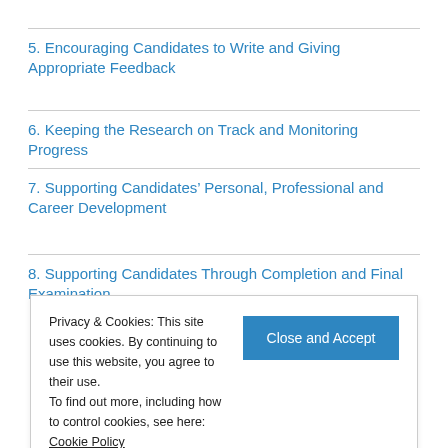5. Encouraging Candidates to Write and Giving Appropriate Feedback
6. Keeping the Research on Track and Monitoring Progress
7. Supporting Candidates’ Personal, Professional and Career Development
8. Supporting Candidates Through Completion and Final Examination
Privacy & Cookies: This site uses cookies. By continuing to use this website, you agree to their use.
To find out more, including how to control cookies, see here: Cookie Policy